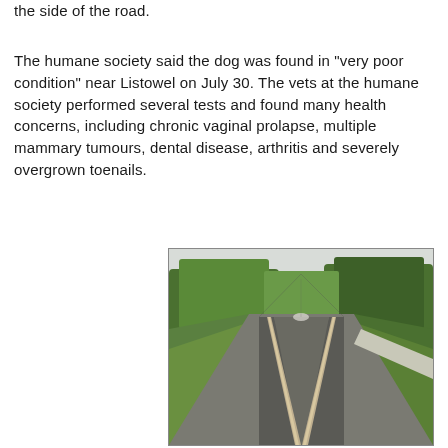the side of the road.
The humane society said the dog was found in "very poor condition" near Listowel on July 30. The vets at the humane society performed several tests and found many health concerns, including chronic vaginal prolapse, multiple mammary tumours, dental disease, arthritis and severely overgrown toenails.
[Figure (photo): A photograph taken from a moving train showing railway tracks stretching straight to the horizon, flanked by green trees and shrubs on both sides.]